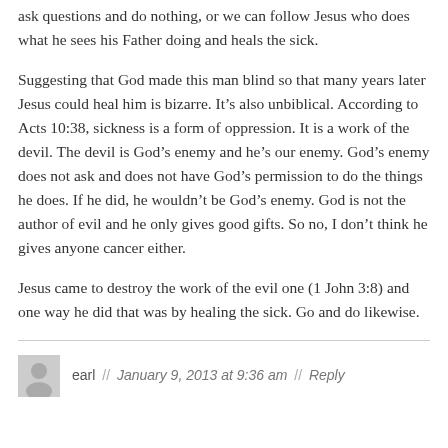ask questions and do nothing, or we can follow Jesus who does what he sees his Father doing and heals the sick.
Suggesting that God made this man blind so that many years later Jesus could heal him is bizarre. It’s also unbiblical. According to Acts 10:38, sickness is a form of oppression. It is a work of the devil. The devil is God’s enemy and he’s our enemy. God’s enemy does not ask and does not have God’s permission to do the things he does. If he did, he wouldn’t be God’s enemy. God is not the author of evil and he only gives good gifts. So no, I don’t think he gives anyone cancer either.
Jesus came to destroy the work of the evil one (1 John 3:8) and one way he did that was by healing the sick. Go and do likewise.
earl // January 9, 2013 at 9:36 am // Reply